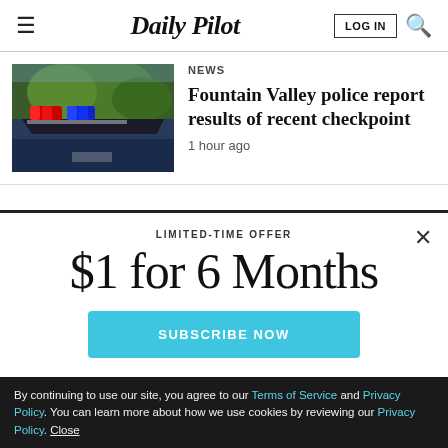Daily Pilot
NEWS
[Figure (photo): Police car with red and blue emergency lights on top, shot from low angle with trees in background]
Fountain Valley police report results of recent checkpoint
1 hour ago
LIMITED-TIME OFFER
$1 for 6 Months
SUBSCRIBE NOW
Already a subscriber? LOG IN
By continuing to use our site, you agree to our Terms of Service and Privacy Policy. You can learn more about how we use cookies by reviewing our Privacy Policy. Close